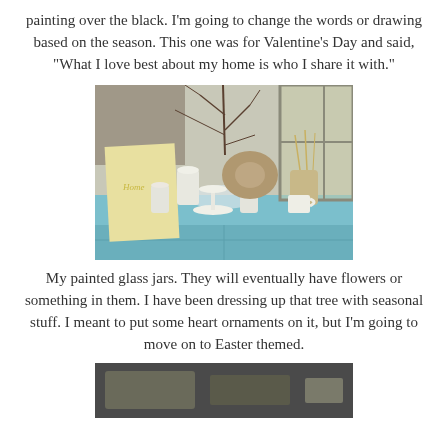painting over the black. I'm going to change the words or drawing based on the season. This one was for Valentine's Day and said, "What I love best about my home is who I share it with."
[Figure (photo): A light blue dresser/console table with white painted glass jars, mason jars, a cake stand, a small white mug, a ceramic pitcher with dried grasses, and bare branches in a bowl arranged on top. A yellow painted sign leans against the wall in the background.]
My painted glass jars. They will eventually have flowers or something in them. I have been dressing up that tree with seasonal stuff. I meant to put some heart ornaments on it, but I'm going to move on to Easter themed.
[Figure (photo): Partial view of another photo showing what appears to be an interior scene, cropped at the bottom of the page.]